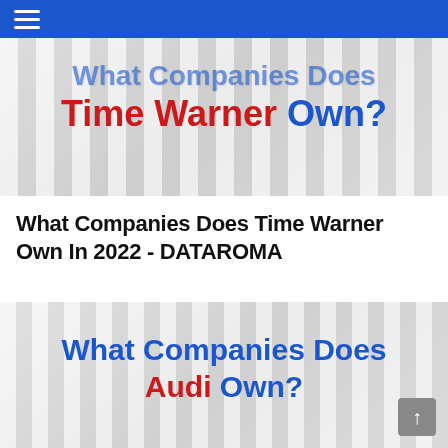Navigation bar with hamburger menu
[Figure (illustration): Hero banner image with blurred background showing text 'What Companies Does Time Warner Own?' with 'Time Warner' in red and 'Own?' in blue on a light gray striped background]
What Companies Does Time Warner Own In 2022 - DATAROMA
[Figure (illustration): Secondary banner image with blurred background showing text 'What Companies Does Audi Own?' with 'What Companies Does' in blue, 'Audi' in red, and 'Own?' in blue on a light gray striped background]